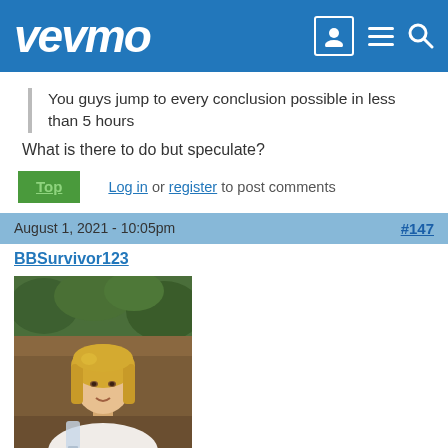vevmo
You guys jump to every conclusion possible in less than 5 hours
What is there to do but speculate?
Top  Log in or register to post comments
August 1, 2021 - 10:05pm  #147
BBSurvivor123
[Figure (photo): Profile photo of a blonde woman in a white top holding a drink, indoors with greenery in background]
gamer said a few hrs ago that derek was eliminated.